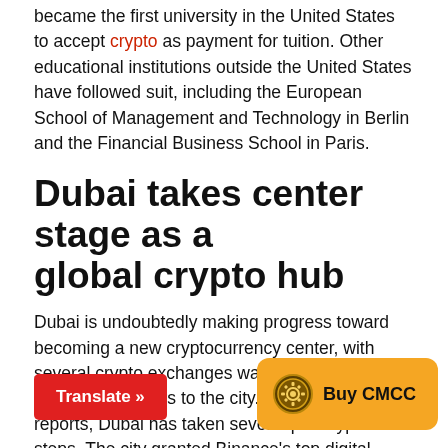became the first university in the United States to accept crypto as payment for tuition. Other educational institutions outside the United States have followed suit, including the European School of Management and Technology in Berlin and the Financial Business School in Paris.
Dubai takes center stage as a global crypto hub
Dubai is undoubtedly making progress toward becoming a new cryptocurrency center, with several crypto exchanges wanting to relocate their headquarters to the city. According to reports, Dubai has taken several pro-crypto steps. The city granted Binance's top digital asset exchange f...ward, rumors surfa...
[Figure (other): Red 'Translate »' button overlay at bottom left]
[Figure (other): Orange 'Buy CMCC' button with coin icon overlay at bottom right]